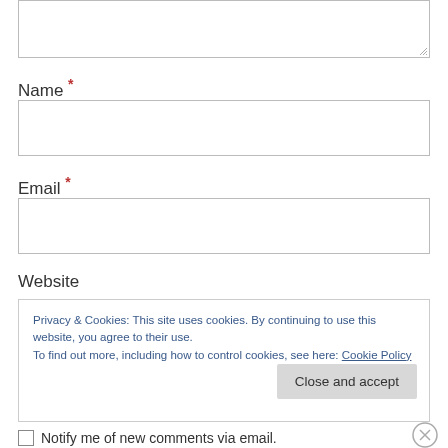[Figure (screenshot): Textarea input box (top of form, partially visible)]
Name *
[Figure (screenshot): Name input field (empty text box)]
Email *
[Figure (screenshot): Email input field (empty text box)]
Website
Privacy & Cookies: This site uses cookies. By continuing to use this website, you agree to their use.
To find out more, including how to control cookies, see here: Cookie Policy
Close and accept
Notify me of new comments via email.